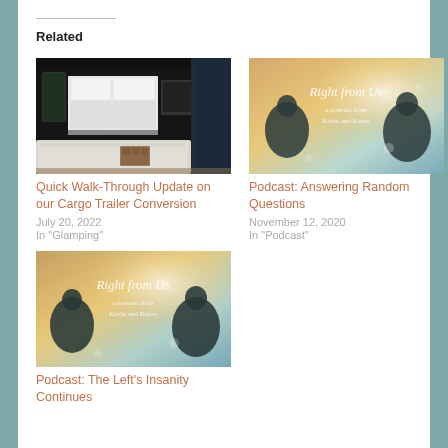Related
[Figure (photo): Interior of a cargo trailer conversion showing a bed, kitchen area with white cabinets, and dark curtains]
Quick Walk-Through Update on our Cargo Trailer Conversion
July 20, 2022
In "Glamping"
[Figure (photo): Right From Us podcast cover image with two silhouetted figures and warm sunset light, text reads: Right From Us, a podcast from Kevin and Karen]
Podcast: Answering Random Questions
November 12, 2020
In "Podcast"
[Figure (photo): Right From Us podcast cover image with two silhouetted figures and warm sunset light, text reads: Right From Us, a podcast from Kevin and Karen]
Podcast: The Left's Insanity Continues